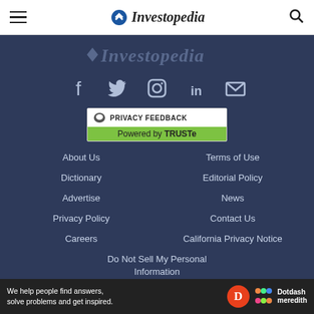Investopedia
[Figure (logo): Investopedia logo in footer area with watermark style text]
[Figure (infographic): Social media icons row: Facebook, Twitter, Instagram, LinkedIn, Email]
[Figure (infographic): Privacy Feedback badge powered by TRUSTe]
About Us
Terms of Use
Dictionary
Editorial Policy
Advertise
News
Privacy Policy
Contact Us
Careers
California Privacy Notice
Do Not Sell My Personal Information
We help people find answers, solve problems and get inspired. Dotdash meredith